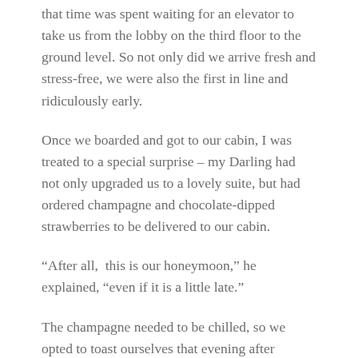that time was spent waiting for an elevator to take us from the lobby on the third floor to the ground level. So not only did we arrive fresh and stress-free, we were also the first in line and ridiculously early.
Once we boarded and got to our cabin, I was treated to a special surprise – my Darling had not only upgraded us to a lovely suite, but had ordered champagne and chocolate-dipped strawberries to be delivered to our cabin.
“After all,  this is our honeymoon,” he explained, “even if it is a little late.”
The champagne needed to be chilled, so we opted to toast ourselves that evening after dinner. We decided to explore the ship instead and opened the cabin door